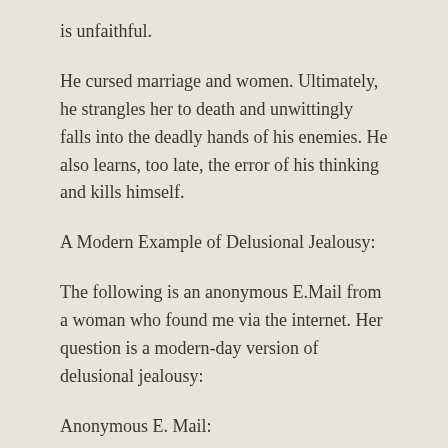is unfaithful.
He cursed marriage and women. Ultimately, he strangles her to death and unwittingly falls into the deadly hands of his enemies. He also learns, too late, the error of his thinking and kills himself.
A Modern Example of Delusional Jealousy:
The following is an anonymous E.Mail from a woman who found me via the internet. Her question is a modern-day version of delusional jealousy:
Anonymous E. Mail: